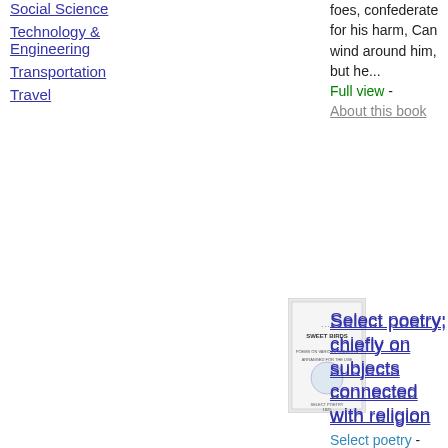Social Science
Technology & Engineering
Transportation
Travel
foes, confederate for his harm, Can wind around him, but he...
Full view - About this book
[Figure (photo): Book cover thumbnail for Select poetry; chiefly on subjects connected with religion]
Select poetry; chiefly on subjects connected with religion
Select poetry - English poetry - 1825 - 160 pages ...God, my God, forgets me not ; And he is safe, and must succeed, For whom the